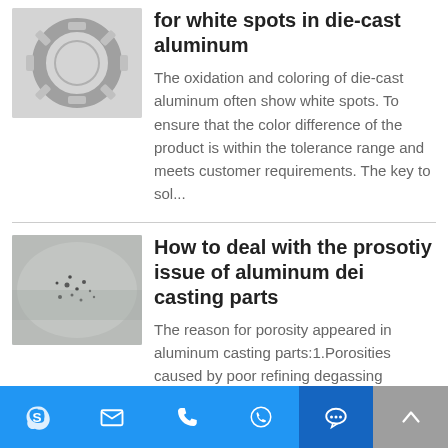[Figure (photo): Die-cast aluminum ring/part shown from above, silver metallic color with gear-like edges]
for white spots in die-cast aluminum
The oxidation and coloring of die-cast aluminum often show white spots. To ensure that the color difference of the product is within the tolerance range and meets customer requirements. The key to sol...
[Figure (photo): Close-up photo of aluminum die casting surface showing porosity/black spots on a light grey surface]
How to deal with the prosotiy issue of aluminum dei casting parts
The reason for porosity appeared in aluminum casting parts:1.Porosities caused by poor refining degassing quality2.Porosities caused by poor exhaust3.Porosities due to improper die-